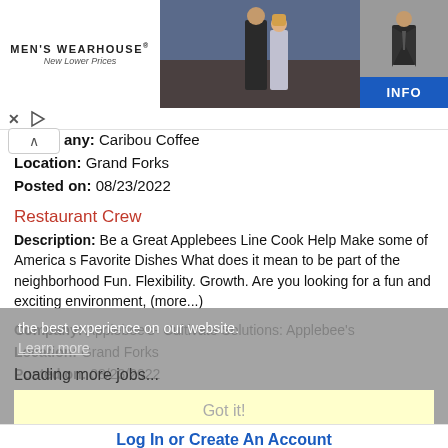[Figure (photo): Men's Wearhouse advertisement banner showing a couple in formal wear, a man in a suit on the right, and an INFO button. Includes MEN'S WEARHOUSE logo with 'New Lower Prices' tagline.]
any: Caribou Coffee
Location: Grand Forks
Posted on: 08/23/2022
Restaurant Crew
Description: Be a Great Applebees Line Cook Help Make some of America s Favorite Dishes What does it mean to be part of the neighborhood Fun. Flexibility. Growth. Are you looking for a fun and exciting environment, (more...)
Company: Applebee's- Cultivate Solutions: Applebee's
Location: Grand Forks
Posted on: 08/23/2022
the best experience on our website.
Learn more
Loading more jobs...
Got it!
Log In or Create An Account
Username: